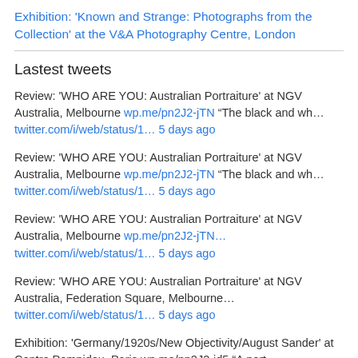Exhibition: 'Known and Strange: Photographs from the Collection' at the V&A Photography Centre, London
Lastest tweets
Review: 'WHO ARE YOU: Australian Portraiture' at NGV Australia, Melbourne wp.me/pn2J2-jTN “The black and wh… twitter.com/i/web/status/1… 5 days ago
Review: 'WHO ARE YOU: Australian Portraiture' at NGV Australia, Melbourne wp.me/pn2J2-jTN “The black and wh… twitter.com/i/web/status/1… 5 days ago
Review: 'WHO ARE YOU: Australian Portraiture' at NGV Australia, Melbourne wp.me/pn2J2-jTN… twitter.com/i/web/status/1… 5 days ago
Review: 'WHO ARE YOU: Australian Portraiture' at NGV Australia, Federation Square, Melbourne… twitter.com/i/web/status/1… 5 days ago
Exhibition: 'Germany/1920s/New Objectivity/August Sander' at Centre Pompidou, Paris wp.me/pn2J2-jd5 “A port… twitter.com/i/web/status/1